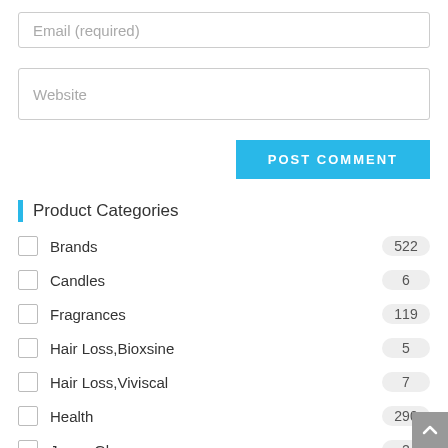Email (required)
Website
POST COMMENT
Product Categories
Brands 522
Candles 6
Fragrances 119
Hair Loss,Bioxsine 5
Hair Loss,Viviscal 7
Health 290
Jenny Glow 2